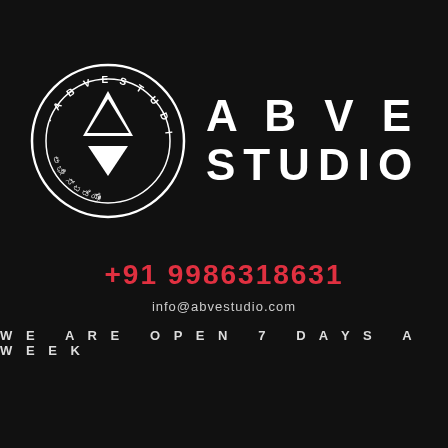[Figure (logo): ABVE Studio circular logo with white triangle/diamond geometric mark and Kannada text around the inner circle, beside large white bold text reading ABVE STUDIO]
+91 9986318631
info@abvestudio.com
WE ARE OPEN 7 DAYS A WEEK